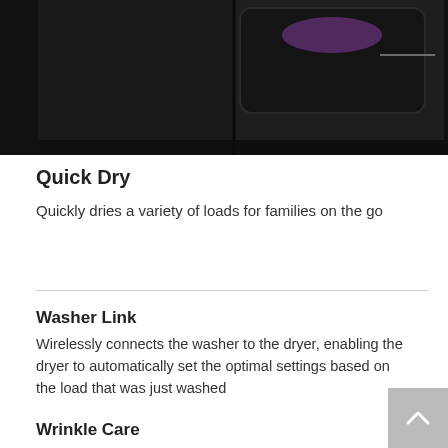[Figure (photo): Dark-colored washer and dryer appliances side by side, partially visible, with a purple item inside the dryer drum visible through the glass door]
Quick Dry
Quickly dries a variety of loads for families on the go
Washer Link
Wirelessly connects the washer to the dryer, enabling the dryer to automatically set the optimal settings based on the load that was just washed
Wrinkle Care